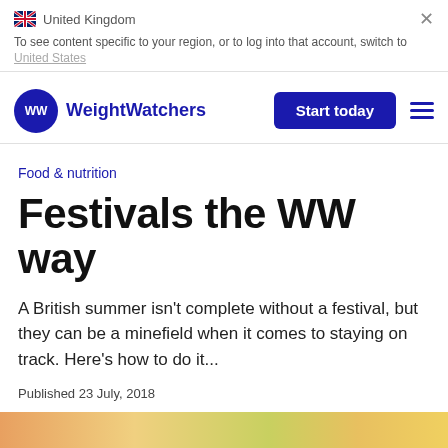United Kingdom — To see content specific to your region, or to log into that account, switch to United States
[Figure (logo): WeightWatchers WW logo with blue circle and brand name, plus Start today button and hamburger menu]
Food & nutrition
Festivals the WW way
A British summer isn't complete without a festival, but they can be a minefield when it comes to staying on track. Here's how to do it...
Published 23 July, 2018
[Figure (illustration): Social media share icons: Facebook, Twitter, Pinterest — dark blue circles]
[Figure (photo): Bottom edge of a food/festival photo, partially visible]